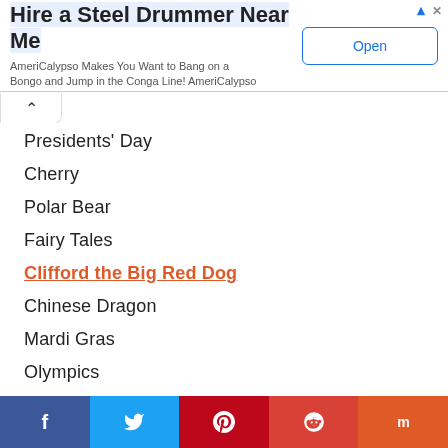[Figure (screenshot): Advertisement banner: 'Hire a Steel Drummer Near Me' with subtext 'AmeriCalypso Makes You Want to Bang on a Bongo and Jump in the Conga Line! AmeriCalypso' and an Open button]
Presidents' Day
Cherry
Polar Bear
Fairy Tales
Clifford the Big Red Dog
Chinese Dragon
Mardi Gras
Olympics
[Figure (infographic): Social sharing bar with Facebook, Twitter, Pinterest, Reddit, and Mix buttons]